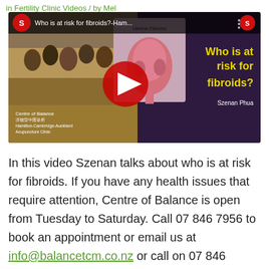in Fertility Clinic Videos / by Mel
[Figure (screenshot): YouTube video thumbnail for 'Who is at risk for fibroids?-Ham...' by Szenan Phua at Centre of Balance, Hamilton-Cambridge-Auckland Acupuncture Clinic. Shows a group of women on the left, a uterine fibroids diagram in the center, and bold yellow text 'Who is at risk for fibroids?' on a dark purple background on the right. Red YouTube play button in the center.]
In this video Szenan talks about who is at risk for fibroids. If you have any health issues that require attention, Centre of Balance is open from Tuesday to Saturday.  Call 07 846 7956 to book an appointment or email us at info@balancetcm.co.nz or call on 07 846